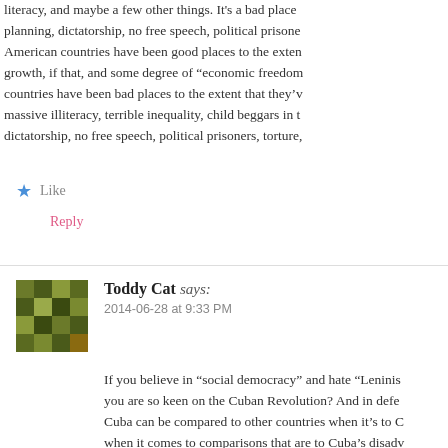literacy, and maybe a few other things. It's a bad place planning, dictatorship, no free speech, political prisone American countries have been good places to the exten growth, if that, and some degree of "economic freedom countries have been bad places to the extent that they'v massive illiteracy, terrible inequality, child beggars in t dictatorship, no free speech, political prisoners, torture,
Like
Reply
Toddy Cat says: 2014-06-28 at 9:33 PM
If you believe in "social democracy" and hate "Leninis you are so keen on the Cuban Revolution? And in defe Cuba can be compared to other countries when it's to C when it comes to comparisons that are to Cuba's disadv